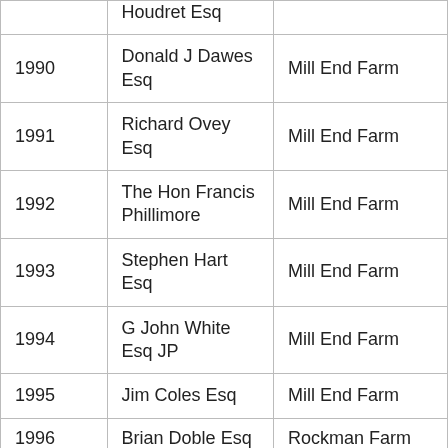|  | Houdret Esq |  |
| 1990 | Donald J Dawes Esq | Mill End Farm |
| 1991 | Richard Ovey Esq | Mill End Farm |
| 1992 | The Hon Francis Phillimore | Mill End Farm |
| 1993 | Stephen Hart Esq | Mill End Farm |
| 1994 | G John White Esq JP | Mill End Farm |
| 1995 | Jim Coles Esq | Mill End Farm |
| 1996 | Brian Doble Esq | Rockman Farm |